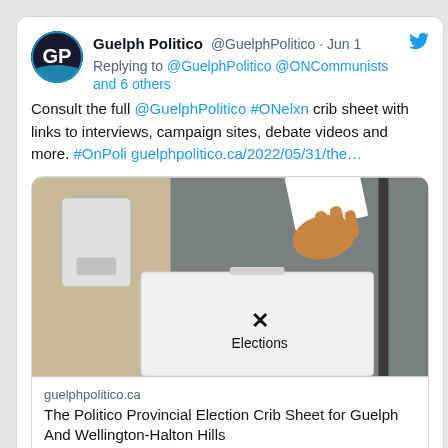[Figure (screenshot): Tweet from Guelph Politico (@GuelphPolitico) dated Jun 1, replying to @GuelphPolitico @ONCommunists and 6 others, with tweet text about a crib sheet and a link card showing a ballot box image from guelphpolitico.ca titled 'The Politico Provincial Election Crib Sheet for Guelph And Wellington-Halton Hills']